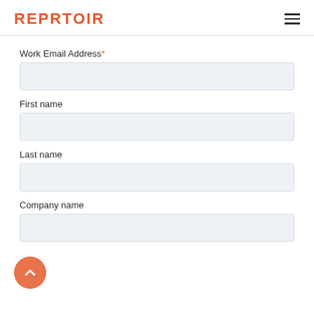REPRTOIR
Work Email Address*
First name
Last name
Company name